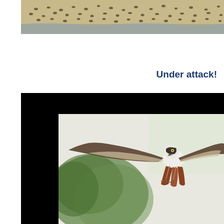[Figure (photo): Cropped photograph of what appears to be many birds or animals on a sandy riverbank near water]
Under attack!
[Figure (photo): Bird (appears to be a Willie Wagtail or similar small bird) photographed from below in flight, wings spread wide, against a background of blurred green trees and sky. The photo is framed with a thick black border.]